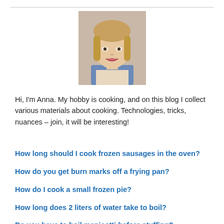[Figure (photo): Portrait photo of a young blonde woman with bangs, smiling, wearing a light top, with a blurred background.]
Hi, I'm Anna. My hobby is cooking, and on this blog I collect various materials about cooking. Technologies, tricks, nuances – join, it will be interesting!
How long should I cook frozen sausages in the oven?
How do you get burn marks off a frying pan?
How do I cook a small frozen pie?
How long does 2 liters of water take to boil?
Do you have to boil manicotti before stuffing?